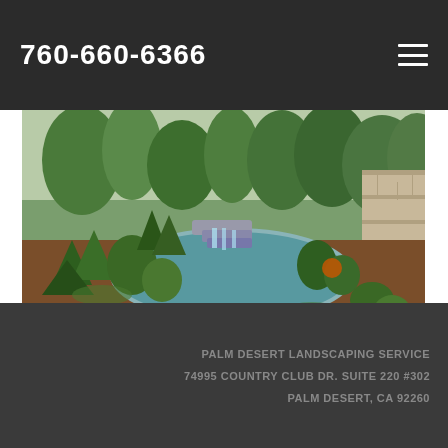760-660-6366
[Figure (photo): Outdoor landscaped garden with a natural pond/pool, waterfall feature, evergreen shrubs, mulched planting beds, and stone retaining walls surrounded by trees]
PALM DESERT LANDSCAPING SERVICE
74995 COUNTRY CLUB DR. SUITE 220 #302
PALM DESERT, CA 92260